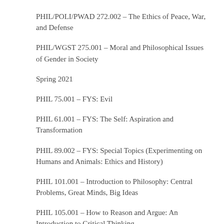PHIL/POLI/PWAD 272.002 – The Ethics of Peace, War, and Defense
PHIL/WGST 275.001 – Moral and Philosophical Issues of Gender in Society
Spring 2021
PHIL 75.001 – FYS: Evil
PHIL 61.001 – FYS: The Self: Aspiration and Transformation
PHIL 89.002 – FYS: Special Topics (Experimenting on Humans and Animals: Ethics and History)
PHIL 101.001 – Introduction to Philosophy: Central Problems, Great Minds, Big Ideas
PHIL 105.001 – How to Reason and Argue: An Introduction to Critical Thinking